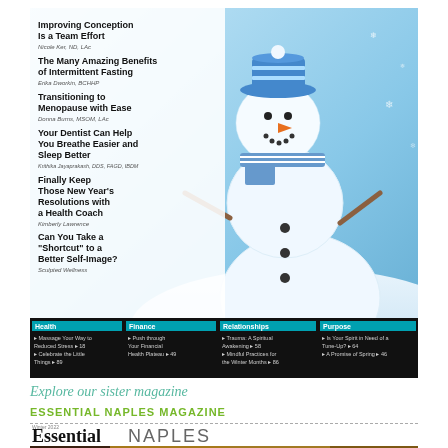[Figure (photo): Magazine cover featuring a snowman with a blue knit hat and scarf against a snowy blue background, with article headlines on the left side and a category bar at the bottom]
Explore our sister magazine
ESSENTIAL NAPLES MAGAZINE
[Figure (photo): Cover of Essential Naples magazine showing the masthead 'Essential NAPLES' with tagline 'SWFl's Resource for Essential Living' and a partial food photo at the bottom]